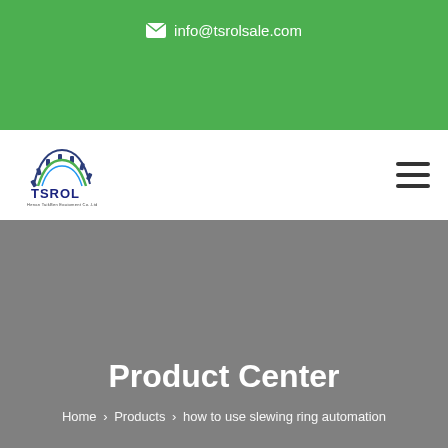✉ info@tsrolsale.com
[Figure (logo): TSROL company logo with gear/cog icon and text 'TSROL' in navy blue]
Product Center
Home > Products > how to use slewing ring automation